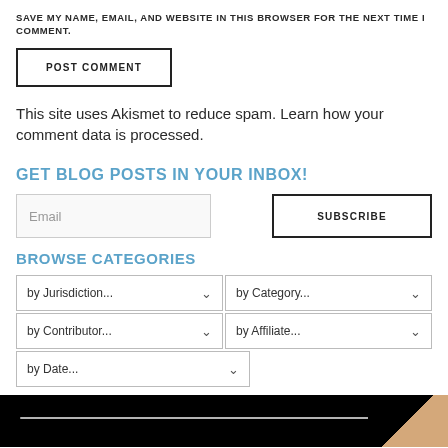SAVE MY NAME, EMAIL, AND WEBSITE IN THIS BROWSER FOR THE NEXT TIME I COMMENT.
POST COMMENT
This site uses Akismet to reduce spam. Learn how your comment data is processed.
GET BLOG POSTS IN YOUR INBOX!
Email
SUBSCRIBE
BROWSE CATEGORIES
by Jurisdiction...
by Category...
by Contributor...
by Affiliate...
by Date...
[Figure (photo): Dark image strip at bottom with a white horizontal line and a skin-toned triangular shape on the right]